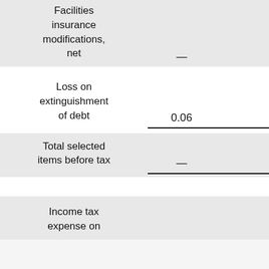|  | Col1 | Col2 |
| --- | --- | --- |
| Facilities insurance modifications, net | — |  |
| Loss on extinguishment of debt | 0.06 |  |
| Total selected items before tax | — |  |
| Income tax expense on |  |  |